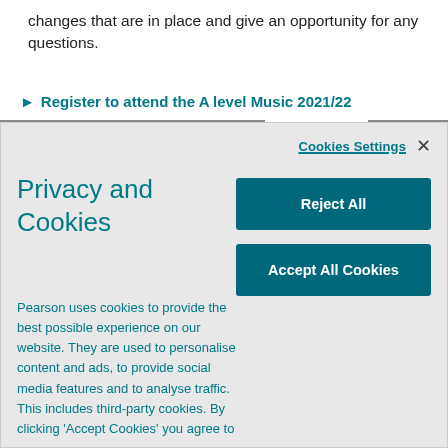changes that are in place and give an opportunity for any questions.
Register to attend the A level Music 2021/22
Privacy and Cookies
Cookies Settings
Pearson uses cookies to provide the best possible experience on our website. They are used to personalise content and ads, to provide social media features and to analyse traffic. This includes third-party cookies. By clicking 'Accept Cookies' you agree to our use of cookies. For more information, to manage or disable cookies, please click 'Cookie
Reject All
Accept All Cookies